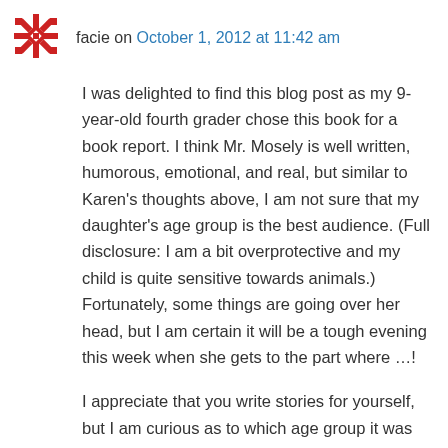[Figure (logo): Red decorative geometric/quilt pattern avatar icon]
facie on October 1, 2012 at 11:42 am
I was delighted to find this blog post as my 9-year-old fourth grader chose this book for a book report. I think Mr. Mosely is well written, humorous, emotional, and real, but similar to Karen's thoughts above, I am not sure that my daughter's age group is the best audience. (Full disclosure: I am a bit overprotective and my child is quite sensitive towards animals.) Fortunately, some things are going over her head, but I am certain it will be a tough evening this week when she gets to the part where …!
I appreciate that you write stories for yourself, but I am curious as to which age group it was aimed at when it was first published. I had